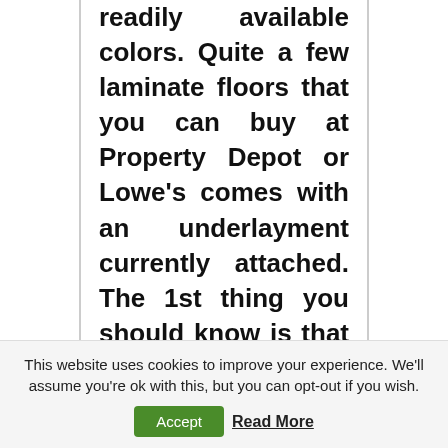readily available colors. Quite a few laminate floors that you can buy at Property Depot or Lowe's comes with an underlayment currently attached. The 1st thing you should know is that I have definitely no expertise in flooring whatsoever, and I nevertheless believe our completed solution appears
This website uses cookies to improve your experience. We'll assume you're ok with this, but you can opt-out if you wish.